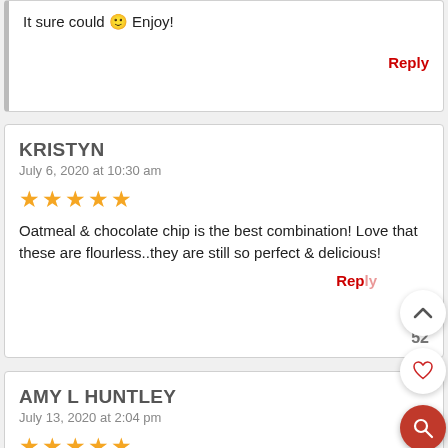It sure could 🙂 Enjoy!
Reply
KRISTYN
July 6, 2020 at 10:30 am
★★★★★
Oatmeal & chocolate chip is the best combination! Love that these are flourless..they are still so perfect & delicious!
Reply
52
AMY L HUNTLEY
July 13, 2020 at 2:04 pm
★★★★★
I love that these are flour-less! Oatmeal chocolate chip is my favorite too! These did not last long at my house!